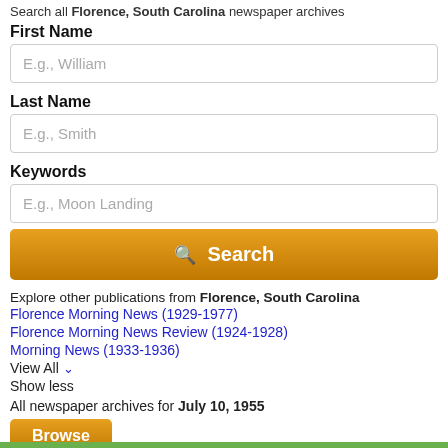Search all Florence, South Carolina newspaper archives
First Name
E.g., William
Last Name
E.g., Smith
Keywords
E.g., Moon Landing
Search
Explore other publications from Florence, South Carolina
Florence Morning News (1929-1977)
Florence Morning News Review (1924-1928)
Morning News (1933-1936)
View All
Show less
All newspaper archives for July 10, 1955
Browse